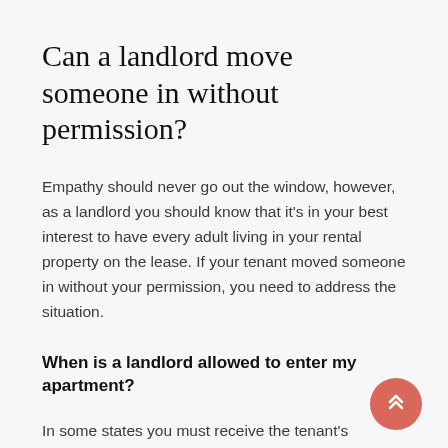Can a landlord move someone in without permission?
Empathy should never go out the window, however, as a landlord you should know that it's in your best interest to have every adult living in your rental property on the lease. If your tenant moved someone in without your permission, you need to address the situation.
When is a landlord allowed to enter my apartment?
In some states you must receive the tenant's